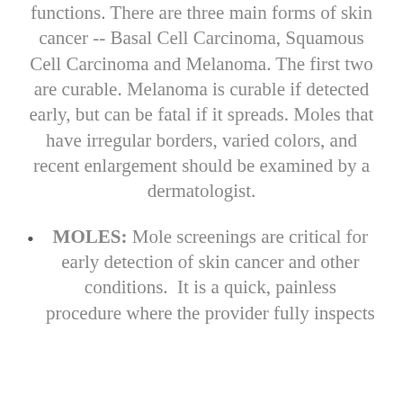functions. There are three main forms of skin cancer -- Basal Cell Carcinoma, Squamous Cell Carcinoma and Melanoma. The first two are curable. Melanoma is curable if detected early, but can be fatal if it spreads. Moles that have irregular borders, varied colors, and recent enlargement should be examined by a dermatologist.
MOLES: Mole screenings are critical for early detection of skin cancer and other conditions. It is a quick, painless procedure where the provider fully inspects